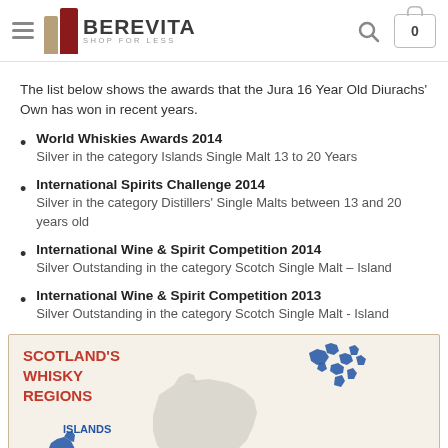BEREVITA SHOP FOR LESS
The list below shows the awards that the Jura 16 Year Old Diurachs' Own has won in recent years.
World Whiskies Awards 2014
Silver in the category Islands Single Malt 13 to 20 Years
International Spirits Challenge 2014
Silver in the category Distillers' Single Malts between 13 and 20 years old
International Wine & Spirit Competition 2014
Silver Outstanding in the category Scotch Single Malt – Island
International Wine & Spirit Competition 2013
Silver Outstanding in the category Scotch Single Malt - Island
[Figure (map): Scotland's Whisky Regions map showing Islands region highlighted in blue, with various island shapes including what appears to be the Hebrides and northern islands]